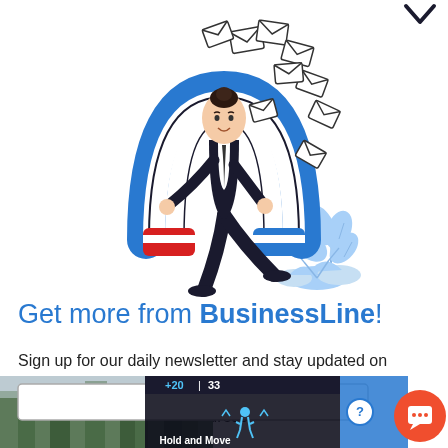[Figure (illustration): A cartoon illustration of a man in business attire holding a large blue horseshoe magnet attracting multiple envelope icons. Blue decorative plant/leaves in the lower right of the illustration.]
Get more from BusinessLine!
Sign up for our daily newsletter and stay updated on business news.
Please enter your email address.
[Figure (screenshot): Bottom portion showing a news website overlay with a 'Hold and Move' game UI element, trees/forest image background, blue bar and orange chat button.]